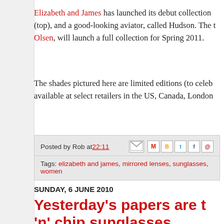Elizabeth and James has launched its debut collection (top), and a good-looking aviator, called Hudson. The Olsen, will launch a full collection for Spring 2011.
The shades pictured here are limited editions (to celeb available at select retailers in the US, Canada, London
Posted by Rob at 22:11   Tags: elizabeth and james, mirrored lenses, sunglasses, women
SUNDAY, 6 JUNE 2010
Yesterday's papers are t 'n' chip sunglasses